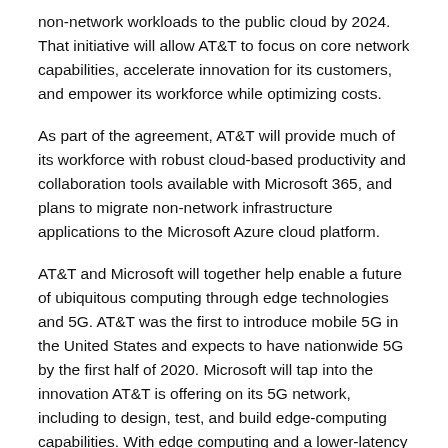non-network workloads to the public cloud by 2024. That initiative will allow AT&T to focus on core network capabilities, accelerate innovation for its customers, and empower its workforce while optimizing costs.
As part of the agreement, AT&T will provide much of its workforce with robust cloud-based productivity and collaboration tools available with Microsoft 365, and plans to migrate non-network infrastructure applications to the Microsoft Azure cloud platform.
AT&T and Microsoft will together help enable a future of ubiquitous computing through edge technologies and 5G. AT&T was the first to introduce mobile 5G in the United States and expects to have nationwide 5G by the first half of 2020. Microsoft will tap into the innovation AT&T is offering on its 5G network, including to design, test, and build edge-computing capabilities. With edge computing and a lower-latency 5G connection enabled through AT&T's geographically dispersed network infrastructure, devices can process data closer to where decisions are made.